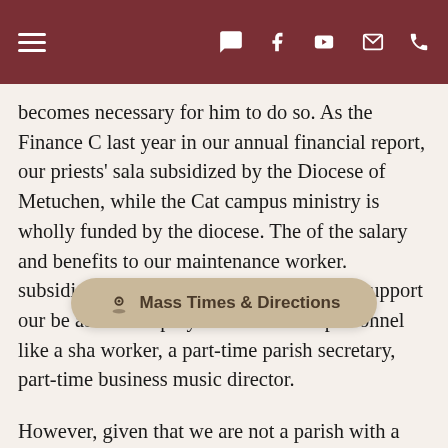Navigation bar with hamburger menu and social/contact icons
becomes necessary for him to do so. As the Finance C last year in our annual financial report, our priests' sala subsidized by the Diocese of Metuchen, while the Cat campus ministry is wholly funded by the diocese. The of the salary and benefits to our maintenance worker. subsidies, the parish would not be able to support our be able to employ other essential personnel like a sha worker, a part-time parish secretary, part-time business music director.
However, given that we are not a parish with a large st are still several measures Msgr. Celano has put in place
First, we have taken advantage of the federal governm